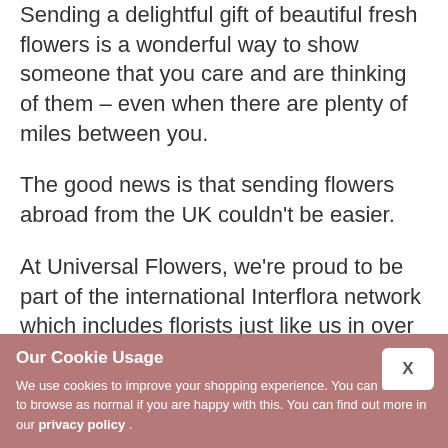Sending a delightful gift of beautiful fresh flowers is a wonderful way to show someone that you care and are thinking of them – even when there are plenty of miles between you.
The good news is that sending flowers abroad from the UK couldn't be easier.
At Universal Flowers, we're proud to be part of the international Interflora network which includes florists just like us in over
Our Cookie Usage
We use cookies to improve your shopping experience. You can continue to browse as normal if you are happy with this. You can find out more in our privacy policy .